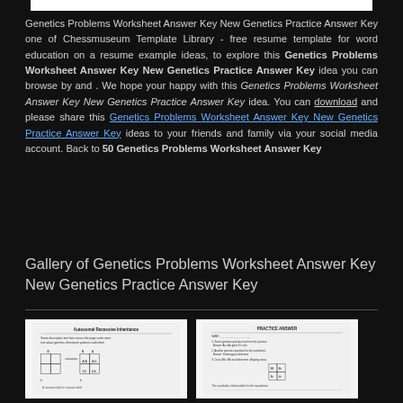Genetics Problems Worksheet Answer Key New Genetics Practice Answer Key one of Chessmuseum Template Library - free resume template for word education on a resume example ideas, to explore this Genetics Problems Worksheet Answer Key New Genetics Practice Answer Key idea you can browse by and . We hope your happy with this Genetics Problems Worksheet Answer Key New Genetics Practice Answer Key idea. You can download and please share this Genetics Problems Worksheet Answer Key New Genetics Practice Answer Key ideas to your friends and family via your social media account. Back to 50 Genetics Problems Worksheet Answer Key
Gallery of Genetics Problems Worksheet Answer Key New Genetics Practice Answer Key
[Figure (other): Thumbnail image of a genetics worksheet showing a dominant/recessive inheritance table with Punnett square]
[Figure (other): Thumbnail image of a genetics practice answer key worksheet]